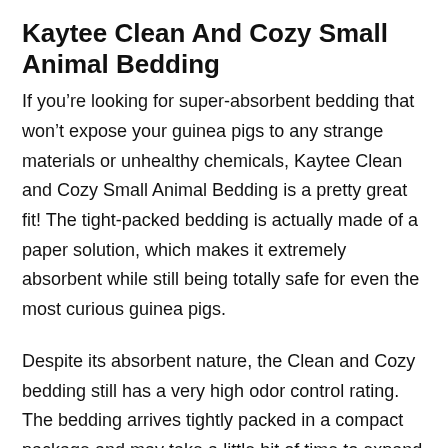Kaytee Clean And Cozy Small Animal Bedding
If you're looking for super-absorbent bedding that won't expose your guinea pigs to any strange materials or unhealthy chemicals, Kaytee Clean and Cozy Small Animal Bedding is a pretty great fit! The tight-packed bedding is actually made of a paper solution, which makes it extremely absorbent while still being totally safe for even the most curious guinea pigs.
Despite its absorbent nature, the Clean and Cozy bedding still has a very high odor control rating. The bedding arrives tightly packed in a compact package and may take a little bit of time to expand upon